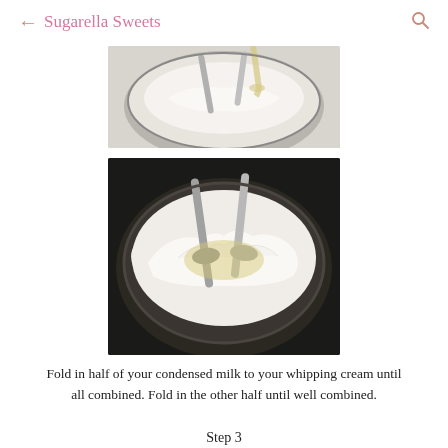← Sugarella Sweets 🔍
[Figure (photo): Photo of a silver mixing bowl with whipped cream being mixed, with beaters visible, condensed milk being poured in from above]
[Figure (photo): Close-up photo of a dark bowl with white whipped cream being folded with a hand mixer, showing a creamy mixture with condensed milk being incorporated]
Fold in half of your condensed milk to your whipping cream until all combined. Fold in the other half until well combined.
Step 3
[Figure (photo): Partial photo at bottom of page showing hands and a baking pan, beginning of Step 3 visual]